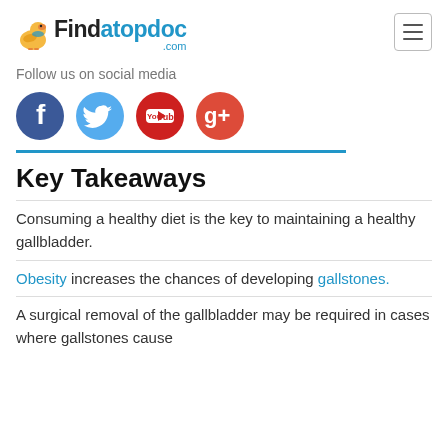Findatopdoc.com
Follow us on social media
[Figure (illustration): Four social media icons: Facebook (blue circle with f), Twitter (light blue circle with bird), YouTube (red circle with play button), Google+ (red circle with g+)]
Key Takeaways
Consuming a healthy diet is the key to maintaining a healthy gallbladder.
Obesity increases the chances of developing gallstones.
A surgical removal of the gallbladder may be required in cases where gallstones cause